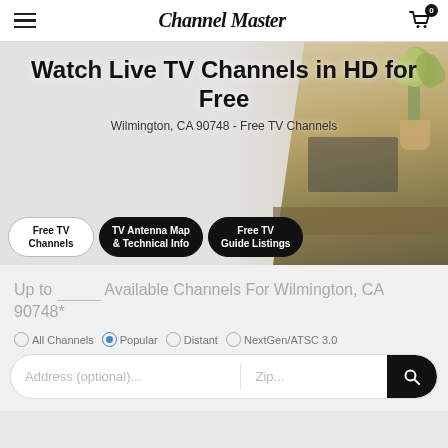Channel Master
[Figure (screenshot): Hero image with living room background, plant and furniture visible on the right side]
Watch Live TV Channels in HD for Free
Wilmington, CA 90748 - Free TV Channels
Free TV Channels
TV Antenna Map & Technical Info
Free TV Guide Listings
Up to ____ Available Channels For Wilmington, CA 90748*
All Channels  Popular  Distant  NextGen/ATSC 3.0
Address (optional)...  Zip...